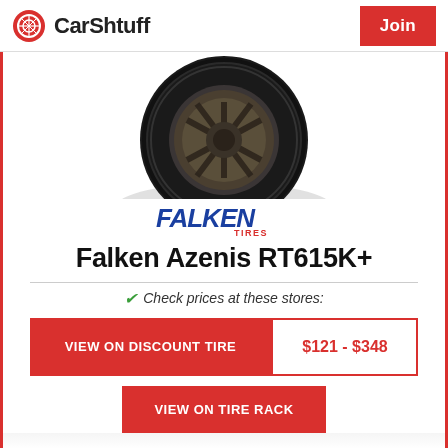CarShtuff | Join
[Figure (photo): Photo of a Falken Azenis RT615K+ tire mounted on a dark alloy wheel, viewed from a slight angle]
[Figure (logo): Falken Tires logo in blue and red italic lettering]
Falken Azenis RT615K+
Check prices at these stores:
VIEW ON DISCOUNT TIRE  $121 - $348
VIEW ON TIRE RACK